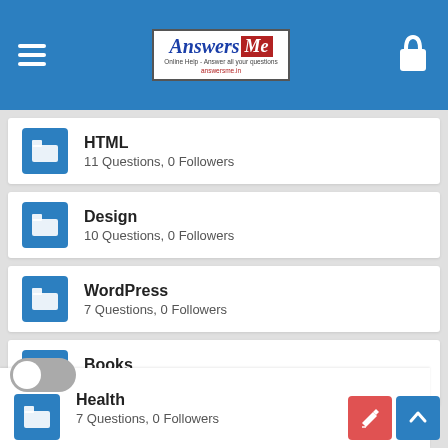[Figure (logo): AnswersMe website logo with hamburger menu and lock icon in blue header bar]
HTML
11 Questions, 0 Followers
Design
10 Questions, 0 Followers
WordPress
7 Questions, 0 Followers
Books
7 Questions, 0 Followers
Health
7 Questions, 0 Followers